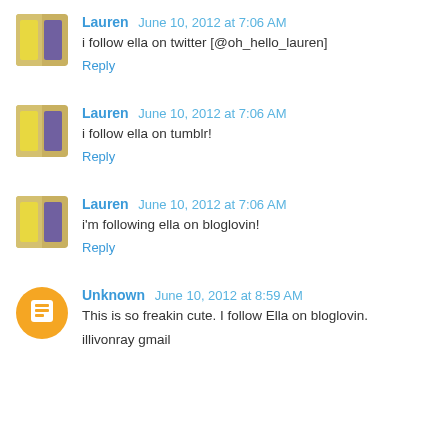Lauren June 10, 2012 at 7:06 AM
i follow ella on twitter [@oh_hello_lauren]
Reply
Lauren June 10, 2012 at 7:06 AM
i follow ella on tumblr!
Reply
Lauren June 10, 2012 at 7:06 AM
i'm following ella on bloglovin!
Reply
Unknown June 10, 2012 at 8:59 AM
This is so freakin cute. I follow Ella on bloglovin.
illivonray gmail